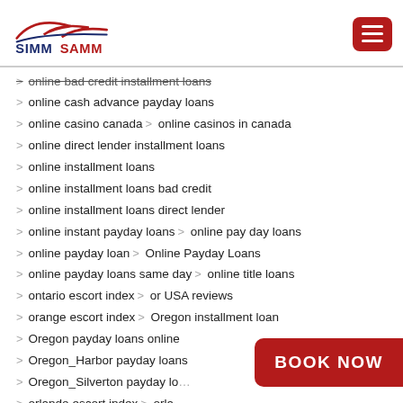[Figure (logo): SIMMSAMM logo with stylized bird/wings graphic in red and dark blue, bold text SIMMSAMM below]
online bad credit installment loans (strikethrough)
online cash advance payday loans
online casino canada > online casinos in canada
online direct lender installment loans
online installment loans
online installment loans bad credit
online installment loans direct lender
online instant payday loans > online pay day loans
online payday loan > Online Payday Loans
online payday loans same day > online title loans
ontario escort index > or USA reviews
orange escort index > Oregon installment loan
Oregon payday loans online
Oregon_Harbor payday loans
Oregon_Silverton payday lo...
orlando escort index > orla...
ourteen network review > o...
BOOK NOW